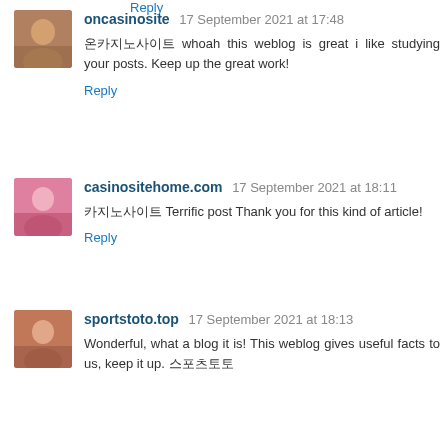Reply (partial, top of page)
oncasinosite  17 September 2021 at 17:48
온카지노사이트 whoah this weblog is great i like studying your posts. Keep up the great work!
Reply
casinositehome.com  17 September 2021 at 18:11
카지노사이트 Terrific post Thank you for this kind of article!
Reply
sportstoto.top  17 September 2021 at 18:13
Wonderful, what a blog it is! This weblog gives useful facts to us, keep it up. 스포츠토토